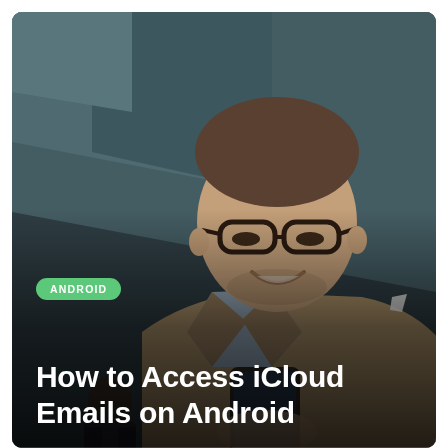[Figure (photo): A smiling man wearing glasses and a grey blazer looking down at his phone, with another man in background, in a modern building interior with teal/grey diagonal walls]
ANDROID
How to Access iCloud Emails on Android